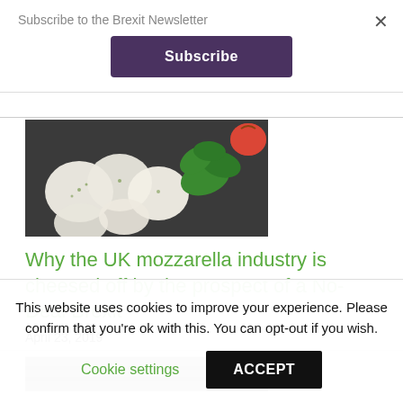Subscribe to the Brexit Newsletter
Subscribe
[Figure (photo): Mozzarella balls with basil leaves and tomatoes on a dark slate background]
Why the UK mozzarella industry is cheesed off by the prospect of a No-Deal Brexit
April 23, 2019
[Figure (photo): Partial view of a second article image (black and white, partially cropped)]
This website uses cookies to improve your experience. Please confirm that you're ok with this. You can opt-out if you wish.
Cookie settings
ACCEPT